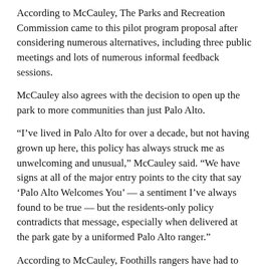According to McCauley, The Parks and Recreation Commission came to this pilot program proposal after considering numerous alternatives, including three public meetings and lots of numerous informal feedback sessions.
McCauley also agrees with the decision to open up the park to more communities than just Palo Alto.
“I’ve lived in Palo Alto for over a decade, but not having grown up here, this policy has always struck me as unwelcoming and unusual,” McCauley said. “We have signs at all of the major entry points to the city that say ‘Palo Alto Welcomes You’ — a sentiment I’ve always found to be true — but the residents-only policy contradicts that message, especially when delivered at the park gate by a uniformed Palo Alto ranger.”
According to McCauley, Foothills rangers have had to turn away over 3,000 visitors in the most recent year.
“Sending so many would-be visitors away with a bitter taste in their mouths is a problem, particularly when we have tools at hand to